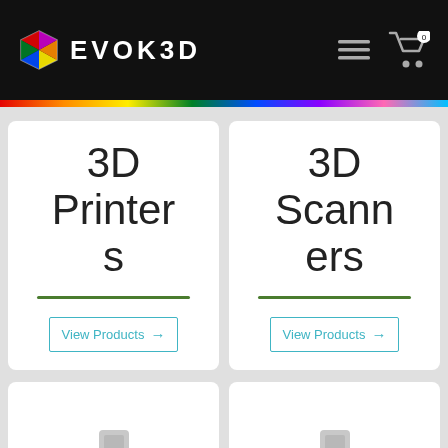EVOK3D
3D Printers
View Products →
3D Scanners
View Products →